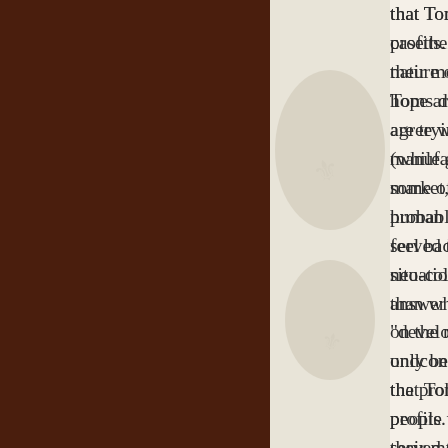that Toms uses poverty and the one for one model to maximize profits. I really do not think this is the case because their movement seems genuine, even if slightly misguided. Toms does not at all address the nature of poverty, they are trying to help people's immediate needs. The shoes are manufactured (under what I hope are fair labor conditions) in some of the countries they give shoes to, preserving some human dignity. Now, I agree with the argument against the "feel bad for you, let me help you!" mindset that leads to neo-colonialism (while good intentioned, charity is not the answer to all of these problems; however, the shoes that are on the market, which are made in what I presume to be fair, only benefit people in that country gain from their labor and the probable return of these shoes after Americans are done, people who made them are inheriting the waste that has served their purpose for the wealthy Americans in a much more dire and problematic situation. I would also like to express these concerns to Toms. However, I do think they are a more ethical choice than what is currently out there. I this respectful discourse because people need to question the ideology of "development" and neo-colonialism. A side note: it is also important for people to understand the consumerism of American society that